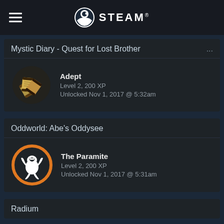STEAM
Mystic Diary - Quest for Lost Brother
[Figure (illustration): Achievement icon: scrolls/parchment rolls tied with string]
Adept
Level 2, 200 XP
Unlocked Nov 1, 2017 @ 5:32am
Oddworld: Abe's Oddysee
[Figure (illustration): Achievement icon: white creature claw/paramite within orange circle]
The Paramite
Level 2, 200 XP
Unlocked Nov 1, 2017 @ 5:31am
Radium